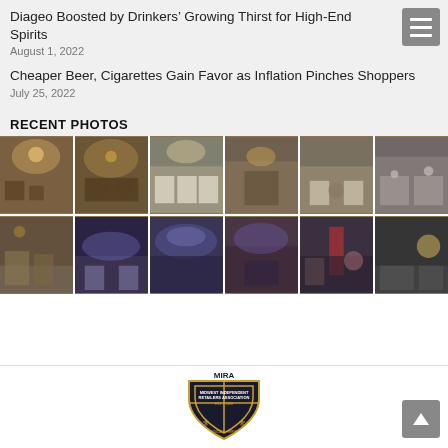Diageo Boosted by Drinkers’ Growing Thirst for High-End Spirits
August 1, 2022
Cheaper Beer, Cigarettes Gain Favor as Inflation Pinches Shoppers
July 25, 2022
RECENT PHOTOS
[Figure (photo): Grid of 12 event/expo photos showing indoor venue scenes with booths and attendees, two rows of six photos each]
[Figure (logo): MIRA Midwest Independent Retailers Association shield logo, EST. 1900]